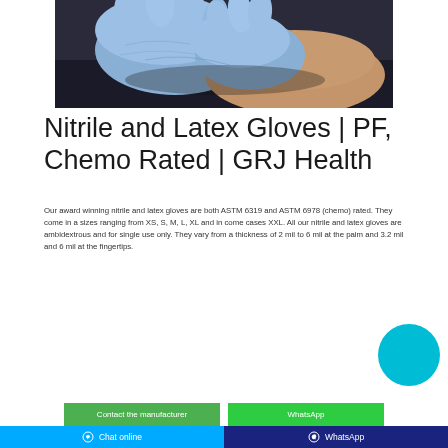[Figure (photo): Close-up photo of hands wearing blue/purple nitrile gloves on a dark background]
Nitrile and Latex Gloves | PF, Chemo Rated | GRJ Health
Our award winning nitrile and latex gloves are both ASTM 6319 and ASTM 6978 (chemo) rated. They come in a sizes ranging from XS, S, M, L, XL and in come cases XXL. All our nitrile and latex gloves are ambidextrous and for single use only. They vary from a thickness of 2 mil to 6 mil at the palm and 3.2 mil and 6 mil at the fingertips.
Contact the manufacturer | WhatsApp | Chat online | WhatsApp